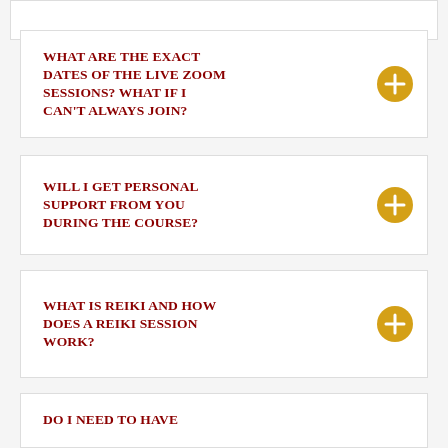What are the exact dates of the live Zoom sessions? What if i can't always join?
Will i get personal support from you during the course?
What is Reiki and how does a Reiki session work?
Do i need to have